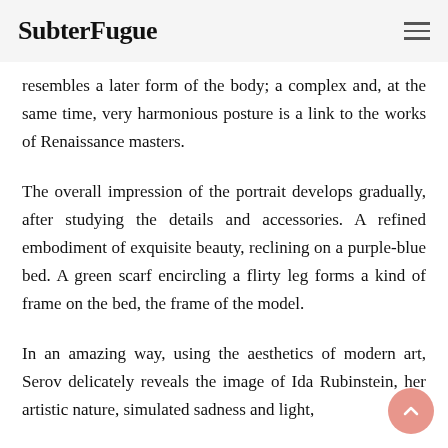SubterFugue
resembles a later form of the body; a complex and, at the same time, very harmonious posture is a link to the works of Renaissance masters.
The overall impression of the portrait develops gradually, after studying the details and accessories. A refined embodiment of exquisite beauty, reclining on a purple-blue bed. A green scarf encircling a flirty leg forms a kind of frame on the bed, the frame of the model.
In an amazing way, using the aesthetics of modern art, Serov delicately reveals the image of Ida Rubinstein, her artistic nature, simulated sadness and light,